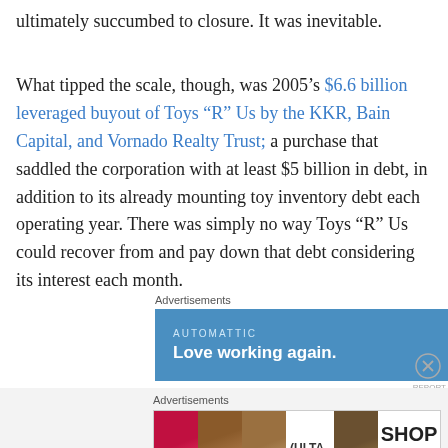ultimately succumbed to closure. It was inevitable.
What tipped the scale, though, was 2005’s $6.6 billion leveraged buyout of Toys “R” Us by the KKR, Bain Capital, and Vornado Realty Trust; a purchase that saddled the corporation with at least $5 billion in debt, in addition to its already mounting toy inventory debt each operating year. There was simply no way Toys “R” Us could recover from and pay down that debt considering its interest each month.
[Figure (screenshot): Blue advertisement banner for Automattic with text 'AUTOMATTIC' and 'Love working again.']
[Figure (screenshot): Ulta Beauty advertisement with makeup/beauty images and 'SHOP NOW' button]